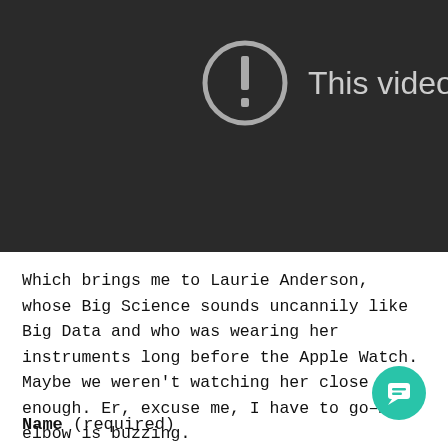[Figure (screenshot): Dark video player area showing an error icon (circle with exclamation mark) and partial text 'This video' on a dark background (#2a2a2a).]
Which brings me to Laurie Anderson, whose Big Science sounds uncannily like Big Data and who was wearing her instruments long before the Apple Watch. Maybe we weren't watching her close enough. Er, excuse me, I have to go–my elbow is buzzing.
Name (required)